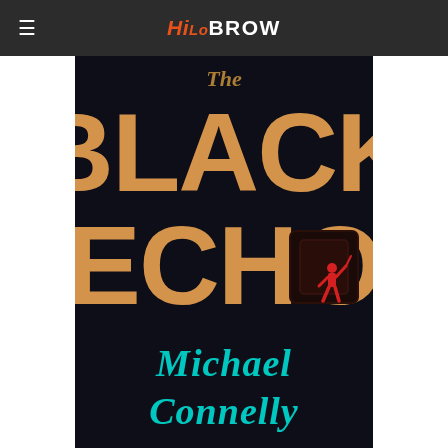HiLoBROW
[Figure (photo): Book cover of 'The Black Echo' by Michael Connelly. Dark/black background with large orange/tan block letters spelling 'BLACK ECHO' and a red silhouette figure of a person in the letter O. Author name 'Michael Connelly' appears in teal/cyan script lettering at the bottom. Partial title 'The' visible at top.]